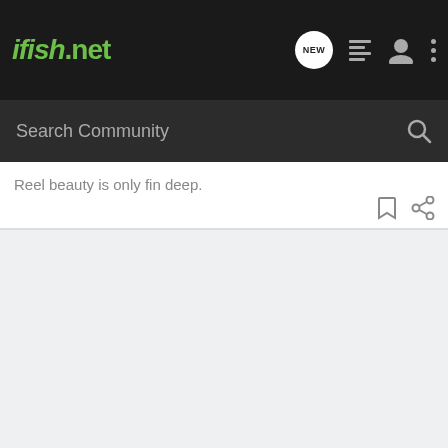ifish.net
Search Community
Reel beauty is only fin deep.